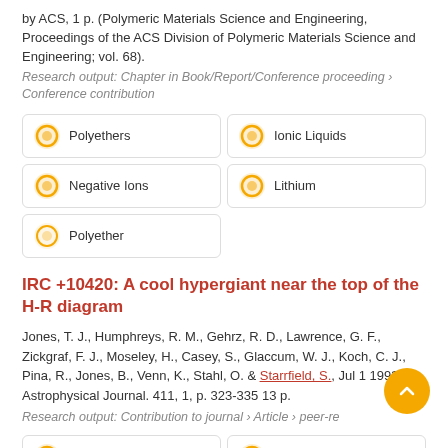by ACS, 1 p. (Polymeric Materials Science and Engineering, Proceedings of the ACS Division of Polymeric Materials Science and Engineering; vol. 68).
Research output: Chapter in Book/Report/Conference proceeding › Conference contribution
Polyethers
Ionic Liquids
Negative Ions
Lithium
Polyether
IRC +10420: A cool hypergiant near the top of the H-R diagram
Jones, T. J., Humphreys, R. M., Gehrz, R. D., Lawrence, G. F., Zickgraf, F. J., Moseley, H., Casey, S., Glaccum, W. J., Koch, C. J., Pina, R., Jones, B., Venn, K., Stahl, O. & Starrfield, S., Jul 1 1993, In: Astrophysical Journal. 411, 1, p. 323-335 13 p.
Research output: Contribution to journal › Article › peer-re
Polarization
Luminosity